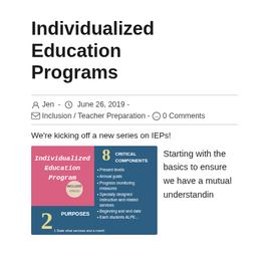Individualized Education Programs
Jen  -  June 26, 2019  -
Inclusion / Teacher Preparation  -  0 Comments
We're kicking off a new series on IEPs!
[Figure (infographic): Infographic about Individualized Education Program showing 2 Purposes and 8 Critical Components including Present levels, Annual goals, Progress monitoring measures, Specially designed instruction and related services, Beginning and end date, and others.]
Starting with the basics to ensure we have a mutual understandin